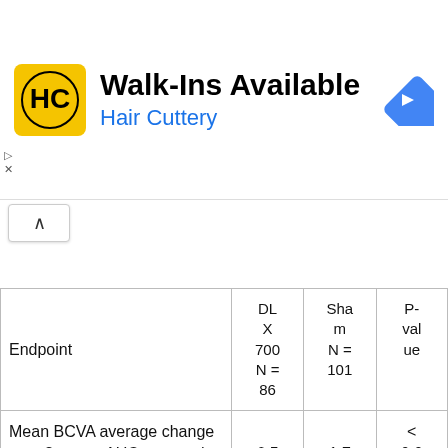[Figure (other): Hair Cuttery advertisement banner with logo, 'Walk-Ins Available' heading, and navigation icon]
| Endpoint | DLX 700 N = 86 | Sham N = 101 | P-value |
| --- | --- | --- | --- |
| Mean BCVA average change over 3 years, AUC approach (letters) | 6.5 | 1.7 | < 0.001 |
| BCVA > 15-letter improvement from baseline at Year 3/Final visit (%) | 23.3 | 10.9 | 0.024 |